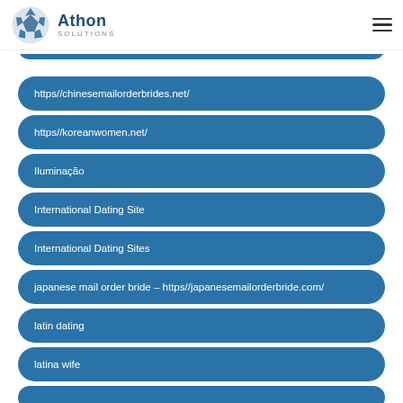Athon Solutions
https//chinesemailorderbrides.net/
https//koreanwomen.net/
Iluminação
International Dating Site
International Dating Sites
japanese mail order bride – https//japanesemailorderbride.com/
latin dating
latina wife